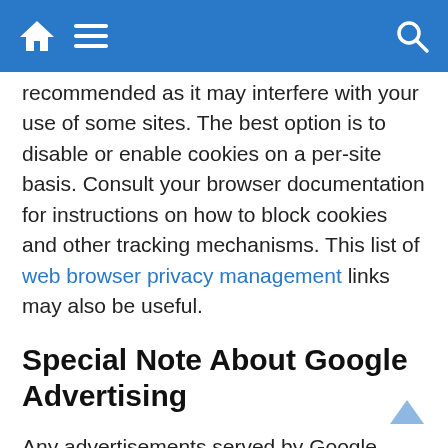[Navigation bar with home, menu, and search icons]
recommended as it may interfere with your use of some sites. The best option is to disable or enable cookies on a per-site basis. Consult your browser documentation for instructions on how to block cookies and other tracking mechanisms. This list of web browser privacy management links may also be useful.
Special Note About Google Advertising
Any advertisements served by Google, Inc., and affiliated companies may be controlled using cookies. These cookies allow Google to display ads based on your visits to this site and other sites that use Google advertising services. Learn